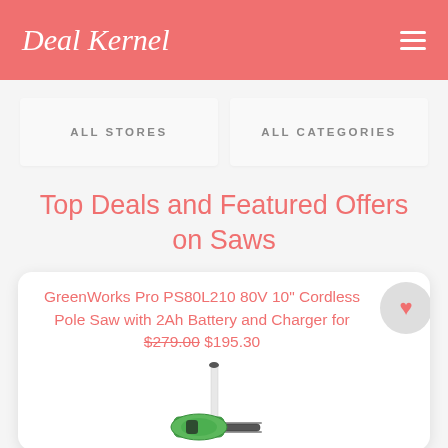Deal Kernel
ALL STORES
ALL CATEGORIES
Top Deals and Featured Offers on Saws
GreenWorks Pro PS80L210 80V 10" Cordless Pole Saw with 2Ah Battery and Charger for $279.00 $195.30
[Figure (photo): GreenWorks cordless pole saw product image, showing a long white pole with a green and black chainsaw head attachment]